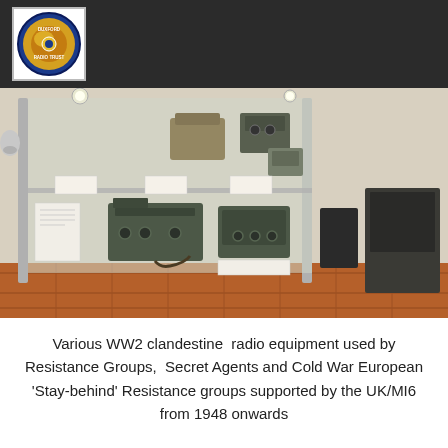Duxford Radio Trust logo
[Figure (photo): Museum display case showing various WW2 clandestine radio equipment including portable transceivers, field sets, and communication gear arranged on glass shelves, with a mannequin head and additional equipment visible outside the case on a terracotta tile floor.]
Various WW2 clandestine radio equipment used by Resistance Groups, Secret Agents and Cold War European 'Stay-behind' Resistance groups supported by the UK/MI6 from 1948 onwards